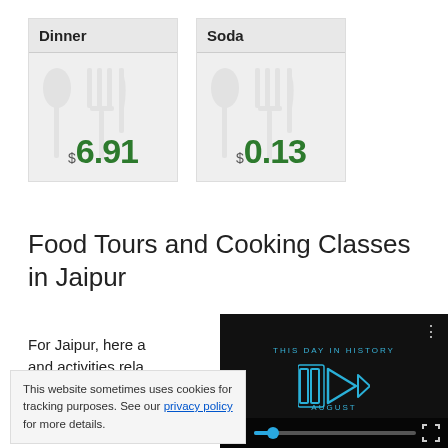| Dinner | Soda |
| --- | --- |
| $6.91 | $0.13 |
Food Tours and Cooking Classes in Jaipur
For Jaipur, here a and activities rela
[Figure (screenshot): Video player overlay showing 'THIS DAY IN HISTORY' with a play button icon, 'AUGUST' text, video controls including mute icon, progress bar, and fullscreen button on dark background]
This website sometimes uses cookies for tracking purposes. See our privacy policy for more details.